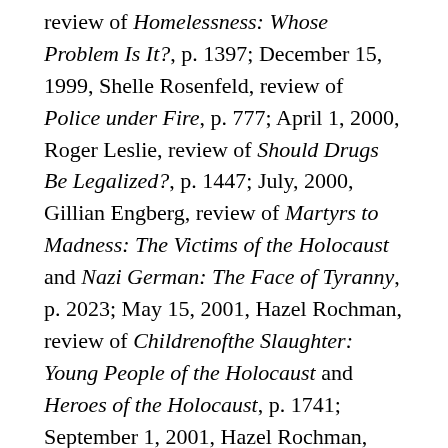review of Homelessness: Whose Problem Is It?, p. 1397; December 15, 1999, Shelle Rosenfeld, review of Police under Fire, p. 777; April 1, 2000, Roger Leslie, review of Should Drugs Be Legalized?, p. 1447; July, 2000, Gillian Engberg, review of Martyrs to Madness: The Victims of the Holocaust and Nazi German: The Face of Tyranny, p. 2023; May 15, 2001, Hazel Rochman, review of Childrenofthe Slaughter: Young People of the Holocaust and Heroes of the Holocaust, p. 1741; September 1, 2001, Hazel Rochman, review of Deniers of the Holocaust: Who They Are, What They Do, Why They Do It, and Displaced Persons: The Liberation and